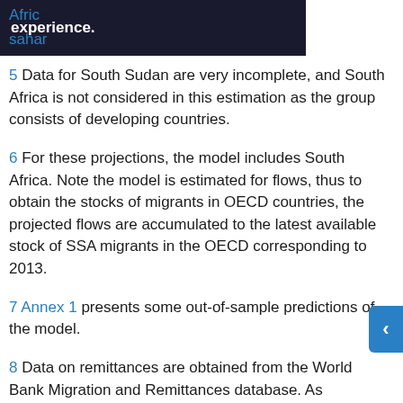Africa ... experience. sahar...
5 Data for South Sudan are very incomplete, and South Africa is not considered in this estimation as the group consists of developing countries.
6 For these projections, the model includes South Africa. Note the model is estimated for flows, thus to obtain the stocks of migrants in OECD countries, the projected flows are accumulated to the latest available stock of SSA migrants in the OECD corresponding to 2013.
7 Annex 1 presents some out-of-sample predictions of the model.
8 Data on remittances are obtained from the World Bank Migration and Remittances database. As explained in Ratha (2003), these remittance flows include workers' remittances reported under current transfers in the current account; compensation to border, seasonal, and other nonresident workers; and migrant transfers reported in capital transfers of the